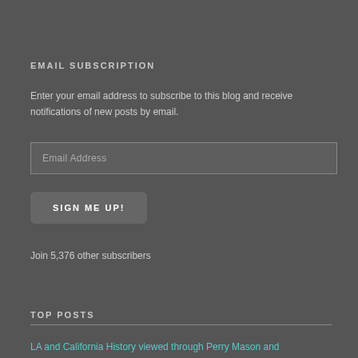EMAIL SUBSCRIPTION
Enter your email address to subscribe to this blog and receive notifications of new posts by email.
Email Address
SIGN ME UP!
Join 5,376 other subscribers
TOP POSTS
LA and California History viewed through Perry Mason and